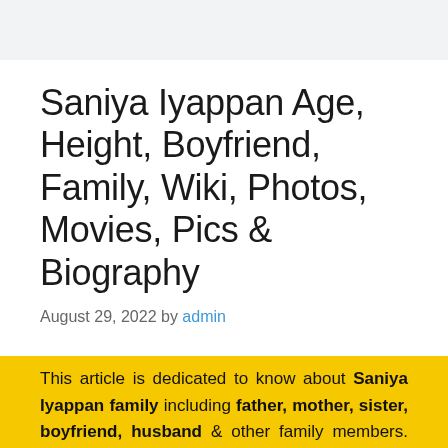Saniya Iyappan Age, Height, Boyfriend, Family, Wiki, Photos, Movies, Pics & Biography
August 29, 2022 by admin
This article is dedicated to know about Saniya Iyappan family including father, mother, sister, boyfriend, husband & other family members. We will also discuss